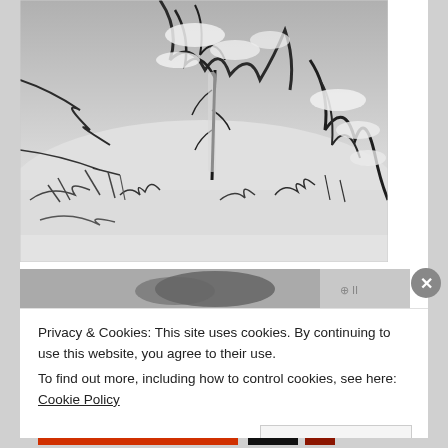[Figure (photo): Black and white aerial/overhead photo of snow-covered conifer trees and branches with snow blanketing the ground beneath them.]
[Figure (photo): Partial view of a second image below, partially obscured, showing dark shapes against a light background with a circular close (X) button overlaid.]
Privacy & Cookies: This site uses cookies. By continuing to use this website, you agree to their use.
To find out more, including how to control cookies, see here: Cookie Policy
Close and accept